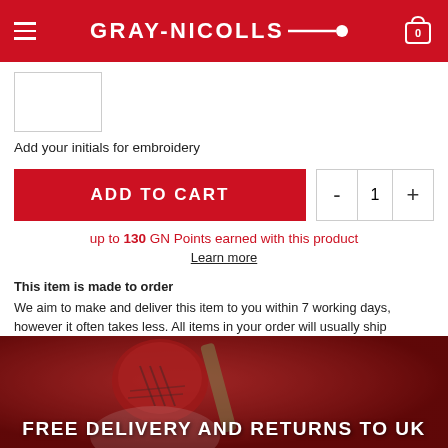GRAY-NICOLLS
[Figure (other): Empty text input box for initials embroidery]
Add your initials for embroidery
ADD TO CART
up to 130 GN Points earned with this product
Learn more
This item is made to order
We aim to make and deliver this item to you within 7 working days, however it often takes less. All items in your order will usually ship together so other items may be slightly delayed while this product is being made.
[Figure (photo): Cricket player wearing red helmet with bat, red background. Text overlay: FREE DELIVERY AND RETURNS TO UK]